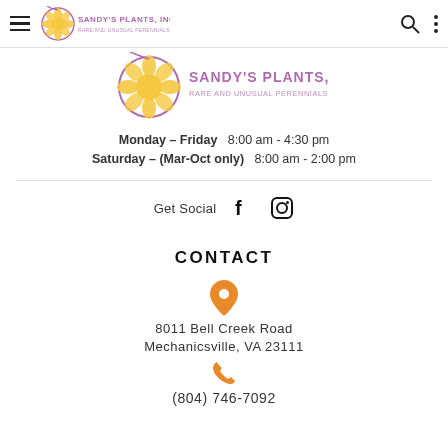Sandy's Plants, Inc. navigation bar with hamburger menu, logo, search, and more options
[Figure (logo): Sandy's Plants, Inc. logo — circular flower graphic with yellow petals and purple text reading SANDY'S PLANTS, INC. with tagline RARE AND UNUSUAL PERENNIALS]
Monday – Friday  8:00 am - 4:30 pm
Saturday – (Mar-Oct only)  8:00 am - 2:00 pm
Get Social
CONTACT
8011 Bell Creek Road
Mechanicsville, VA 23111
(804) 746-7092